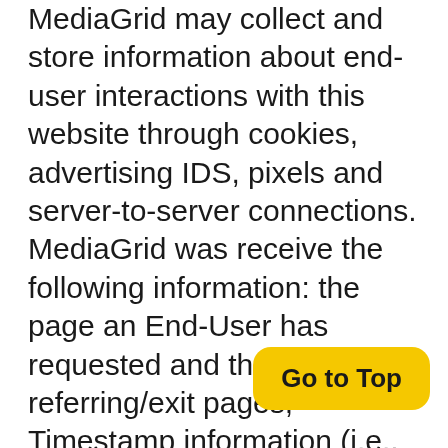MediaGrid may collect and store information about end-user interactions with this website through cookies, advertising IDS, pixels and server-to-server connections. MediaGrid was receive the following information: the page an End-User has requested and the referring/exit pages; Timestamp information (i.e., the date and time the End-User has visited the page); IP address; mobile device identifier; device model; device operating system; browser type; carrier; gender; age; geolocation (including GPS coordinates); clickstream data; cookie information; first-party identi hashed email addresses; dem and inferred interest information; and